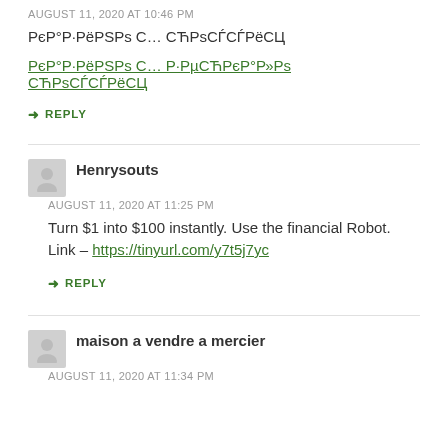AUGUST 11, 2020 AT 10:46 PM
РєР°Р·РёРSРs С… СЋРsСЃСЃРёСЦ
РєР°Р·РёРSРs С… Р·РµСЋРєР°Р»Рs СЋРsСЃСЃРёСЦ
REPLY
Henrysouts
AUGUST 11, 2020 AT 11:25 PM
Turn $1 into $100 instantly. Use the financial Robot. Link – https://tinyurl.com/y7t5j7yc
REPLY
maison a vendre a mercier
AUGUST 11, 2020 AT 11:34 PM